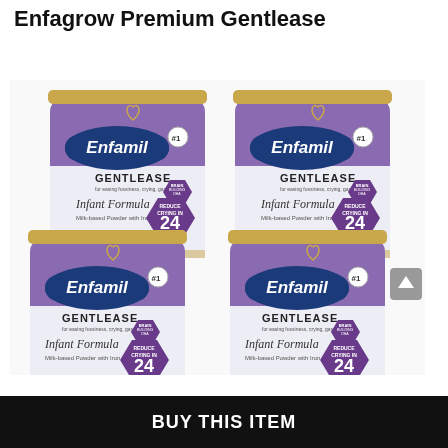Enfagrow Premium Gentlease
[Figure (photo): Four cans of Enfamil Gentlease Infant Formula arranged in a 2x2 grid. Each can is white and purple with a gold lid, featuring the Enfamil logo in blue, GENTLEASE label, and a purple hexagon badge reading REDUCE CRYING IN 24. Brain building DHA badge visible on each can.]
BUY THIS ITEM